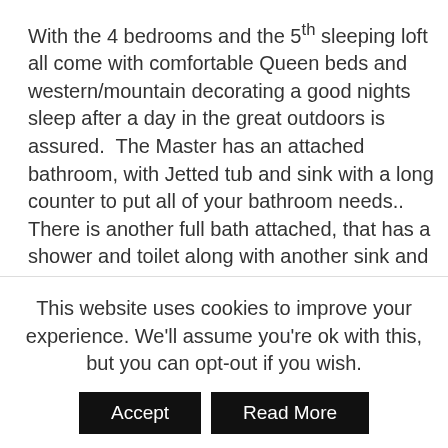With the 4 bedrooms and the 5th sleeping loft all come with comfortable Queen beds and western/mountain decorating a good nights sleep after a day in the great outdoors is assured.  The Master has an attached bathroom, with Jetted tub and sink with a long counter to put all of your bathroom needs.. There is another full bath attached, that has a shower and toilet along with another sink and counter, with a door to the master and also to the hallway, so it can be used by others.  On a separate wing, with the 2 bedrooms decorated in western decor, they have Queen beds, with a full-size bathroom to share. On
This website uses cookies to improve your experience. We'll assume you're ok with this, but you can opt-out if you wish.
Accept  Read More